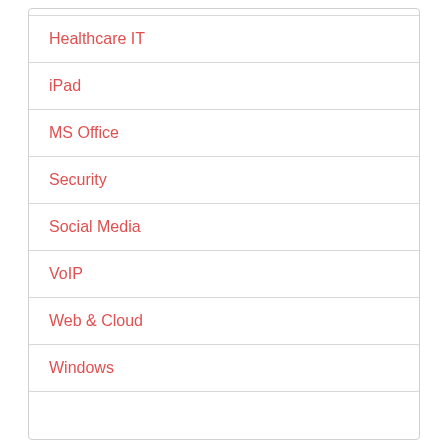Healthcare IT
iPad
MS Office
Security
Social Media
VoIP
Web & Cloud
Windows